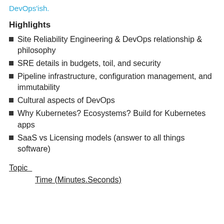DevOps'ish.
Highlights
Site Reliability Engineering & DevOps relationship & philosophy
SRE details in budgets, toil, and security
Pipeline infrastructure, configuration management, and immutability
Cultural aspects of DevOps
Why Kubernetes? Ecosystems? Build for Kubernetes apps
SaaS vs Licensing models (answer to all things software)
Topic    Time (Minutes.Seconds)